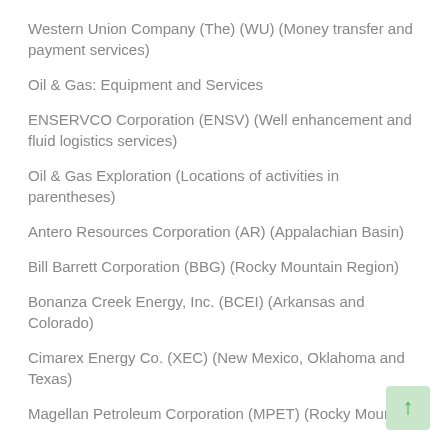Western Union Company (The) (WU) (Money transfer and payment services)
Oil & Gas: Equipment and Services
ENSERVCO Corporation (ENSV) (Well enhancement and fluid logistics services)
Oil & Gas Exploration (Locations of activities in parentheses)
Antero Resources Corporation (AR) (Appalachian Basin)
Bill Barrett Corporation (BBG) (Rocky Mountain Region)
Bonanza Creek Energy, Inc. (BCEI) (Arkansas and Colorado)
Cimarex Energy Co. (XEC) (New Mexico, Oklahoma and Texas)
Magellan Petroleum Corporation (MPET) (Rocky Mountain